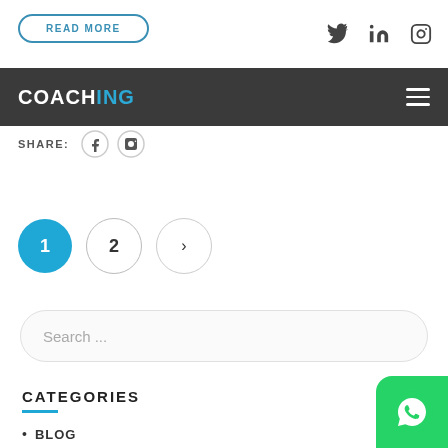READ MORE
Twitter LinkedIn Instagram social icons
COACHING
SHARE:
[Figure (infographic): Pagination: page 1 (active, blue circle), page 2 (circle), next arrow (circle)]
[Figure (infographic): Search bar with placeholder text 'Search ...']
CATEGORIES
BLOG
BUSINESS
[Figure (screenshot): WhatsApp green icon button in bottom right corner]